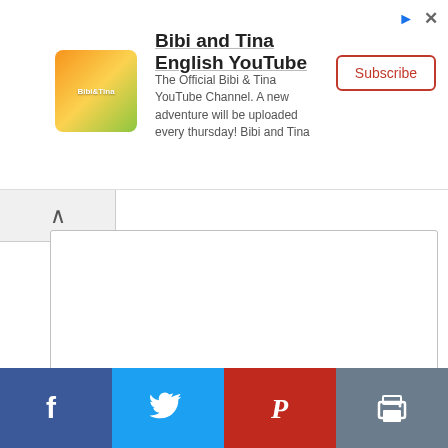[Figure (screenshot): Advertisement banner for 'Bibi and Tina English YouTube' channel with logo, description text, and Subscribe button]
Bibi and Tina English YouTube
The Official Bibi & Tina YouTube Channel. A new adventure will be uploaded every thursday! Bibi and Tina
Name *
Email *
[Figure (screenshot): Social share bar with Facebook, Twitter, Pinterest, and Print buttons]